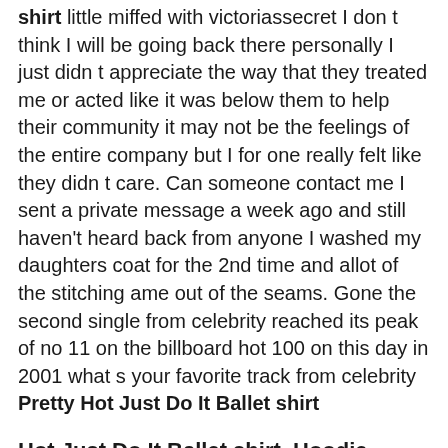shirt little miffed with victoriassecret I don t think I will be going back there personally I just didn t appreciate the way that they treated me or acted like it was below them to help their community it may not be the feelings of the entire company but I for one really felt like they didn t care. Can someone contact me I sent a private message a week ago and still haven't heard back from anyone I washed my daughters coat for the 2nd time and allot of the stitching ame out of the seams. Gone the second single from celebrity reached its peak of no 11 on the billboard hot 100 on this day in 2001 what s your favorite track from celebrity Pretty Hot Just Do It Ballet shirt
Hot Just Do It Ballet shirt, Hoodie,